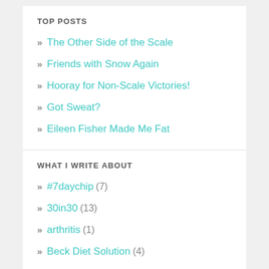TOP POSTS
» The Other Side of the Scale
» Friends with Snow Again
» Hooray for Non-Scale Victories!
» Got Sweat?
» Eileen Fisher Made Me Fat
WHAT I WRITE ABOUT
» #7daychip (7)
» 30in30 (13)
» arthritis (1)
» Beck Diet Solution (4)
» biggest loser (25)